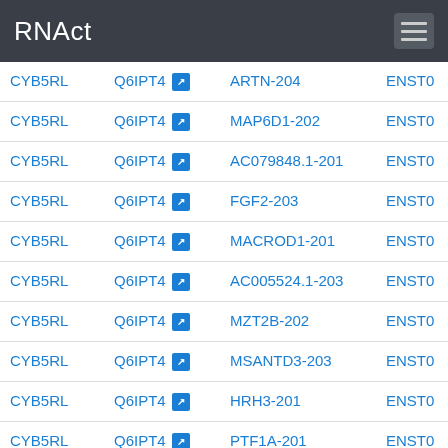RNAct
| RBP | UniProt | Target transcript | Ensembl ID |
| --- | --- | --- | --- |
| CYB5RL | Q6IPT4 | ARTN-204 | ENST0 |
| CYB5RL | Q6IPT4 | MAP6D1-202 | ENST0 |
| CYB5RL | Q6IPT4 | AC079848.1-201 | ENST0 |
| CYB5RL | Q6IPT4 | FGF2-203 | ENST0 |
| CYB5RL | Q6IPT4 | MACROD1-201 | ENST0 |
| CYB5RL | Q6IPT4 | AC005524.1-203 | ENST0 |
| CYB5RL | Q6IPT4 | MZT2B-202 | ENST0 |
| CYB5RL | Q6IPT4 | MSANTD3-203 | ENST0 |
| CYB5RL | Q6IPT4 | HRH3-201 | ENST0 |
| CYB5RL | Q6IPT4 | PTF1A-201 | ENST0 |